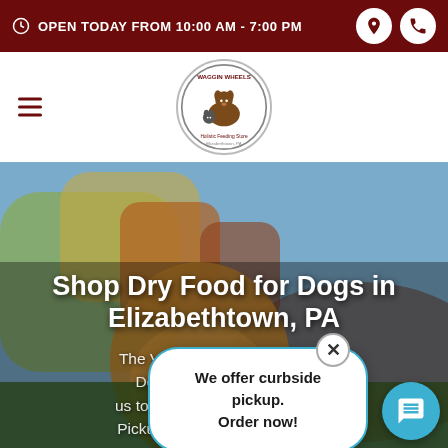OPEN TODAY FROM 10:00 AM - 7:00 PM
[Figure (logo): Waggin Wheels pet store circular logo with dog and cat illustration]
Shop Dry Food for Dogs in Elizabethtown, PA
The Very Best... Food. Don't see w...? us to place an order for In Store Pickup, Curbside Pickup, Local
We offer curbside pickup. Order now!